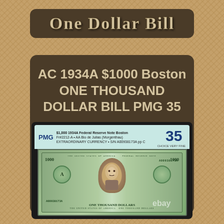One Dollar Bill
AC 1934A $1000 Boston ONE THOUSAND DOLLAR BILL PMG 35
[Figure (photo): PMG graded slab containing a 1934A $1000 Federal Reserve Note from Boston, graded PMG 35. The holder shows the banknote with green tones, a portrait of Grover Cleveland in the center, serial number A00938173A, district letter A, and PMG grade of 35.]